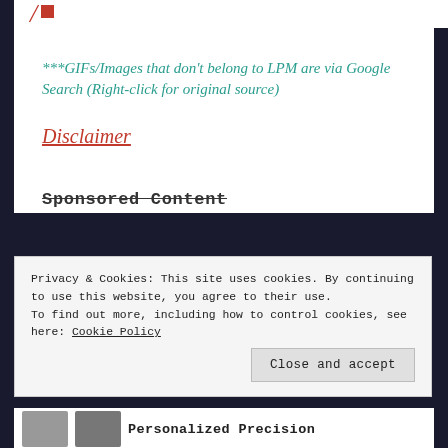***GIFs/Images that don't belong to LPM are via Google Search (Right-click for original source)
Disclaimer
Sponsored Content
Privacy & Cookies: This site uses cookies. By continuing to use this website, you agree to their use.
To find out more, including how to control cookies, see here: Cookie Policy
Close and accept
Personalized Precision